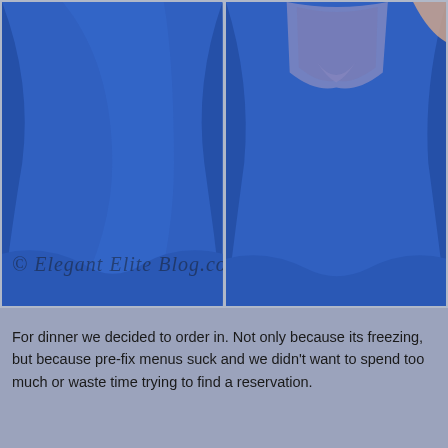[Figure (photo): Two side-by-side photos of a woman wearing a royal blue fitted dress. Left photo shows the front view of the dress from waist down. Right photo shows the back view of the dress, revealing a lace upper back detail. A watermark reads '© Elegant Elite Blog.com'.]
For dinner we decided to order in. Not only because its freezing, but because pre-fix menus suck and we didn't want to spend too much or waste time trying to find a reservation.